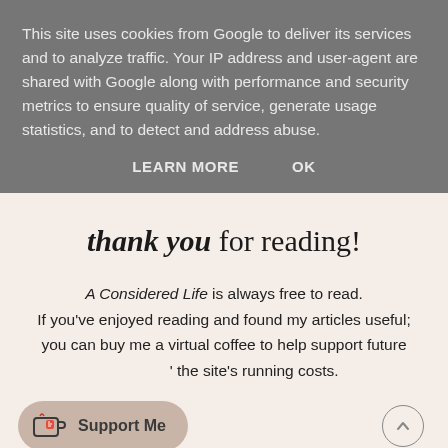This site uses cookies from Google to deliver its services and to analyze traffic. Your IP address and user-agent are shared with Google along with performance and security metrics to ensure quality of service, generate usage statistics, and to detect and address abuse.
LEARN MORE    OK
thank you for reading!
A Considered Life is always free to read. If you've enjoyed reading and found my articles useful; you can buy me a virtual coffee to help support future and the site's running costs.
Support Me
Buy Me A Coffee